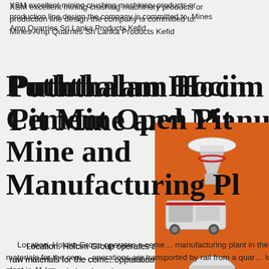XSM excellent mining crushing machinery products or production line design the company is committed to. Mines Amp Quarries Sri Lanka Products Kefid
Puththalam Hocim Cement Open Pit Mine and Manufacturing Pl
Location. Holcim Group operates a cement manufacturing plant in the Puttalam District, S… Limestone and other raw materials for the cement operations are transported by rail from a quarry located in Aruwakkalu. The distance between … and plant is 41 km.
[Figure (illustration): Orange advertisement panel with mining/crushing machinery images, 'Enjoy 3% discount', 'Click to Chat', Enquiry section, and email limingjlmofen@sina.com]
aruwakkalu limestone quarry